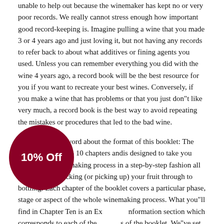unable to help out because the winemaker has kept no or very poor records. We really cannot stress enough how important good record-keeping is. Imagine pulling a wine that you made 3 or 4 years ago and just loving it, but not having any records to refer back to about what additives or fining agents you used. Unless you can remember everything you did with the wine 4 years ago, a record book will be the best resource for you if you want to recreate your best wines. Conversely, if you make a wine that has problems or that you just don"t like very much, a record book is the best way to avoid repeating the mistakes or procedures that led to the bad wine.
Finally, a quick word about the format of this booklet: The text is divided into 10 chapters andis designed to take you through the winemaking process in a step-by-step fashion all the way from picking (or picking up) your fruit through to bottling. Each chapter of the booklet covers a particular phase, stage or aspect of the whole winemaking process. What you"ll find in Chapter Ten is an Expanded Information section which corresponds to each of the chapters of the booklet. We"ve set the text up so that you"ll get the nuts and bolts" of what you"re doing at each stage up front. Then if you learn more about the “why” as opposed to just the “what” of that particular process just flip back to Chapter Ten and find the corresponding section. Our aim here is for you to have a
[Figure (other): Dark red circular badge with '10% Off' text in white bold font]